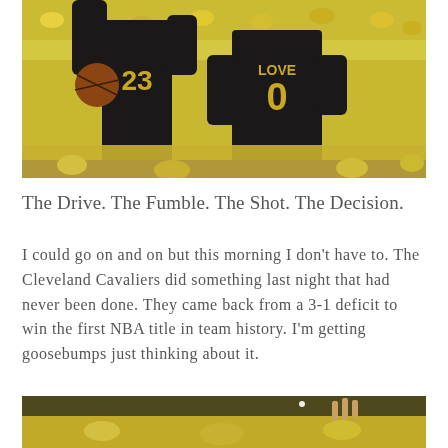[Figure (photo): Two Cleveland Cavaliers basketball players celebrating on court, wearing dark jerseys with numbers 23 and 0 (LOVE), with a crowd of fans in yellow in the background.]
The Drive. The Fumble. The Shot. The Decision.
I could go on and on but this morning I don't have to. The Cleveland Cavaliers did something last night that had never been done. They came back from a 3-1 deficit to win the first NBA title in team history. I'm getting goosebumps just thinking about it.
[Figure (photo): Partial view of a basketball player celebrating, with a crowd of fans in yellow in the background, at the bottom of the page.]